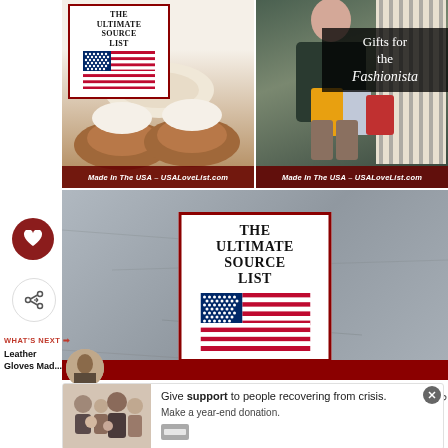[Figure (photo): Top-left image: slippers/moccasins photo with 'THE ULTIMATE SOURCE LIST' card overlay featuring US flag, and 'Made In The USA – USALoveList.com' banner]
[Figure (photo): Top-right image: woman with shopping bags for 'Gifts for the Fashionista' with 'Made In The USA – USALoveList.com' banner]
[Figure (photo): Middle large image: concrete background with large 'THE ULTIMATE SOURCE LIST' card featuring US flag]
[Figure (photo): Bottom advertisement: family photo with 'Give support to people recovering from crisis. Make a year-end donation.']
WHAT'S NEXT → Leather Gloves Mad...